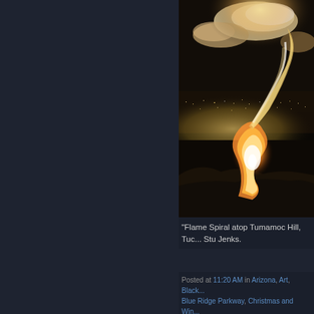[Figure (photo): Night photograph taken from Tumamoc Hill showing a flame spiral or fire art installation in the foreground with the illuminated city of Tucson spread across the valley below, and dramatic clouds lit from below in the dark sky above.]
"Flame Spiral atop Tumamoc Hill, Tuc... Stu Jenks.
Posted at 11:20 AM in Arizona, Art, Black... Blue Ridge Parkway, Christmas and Win... Composition, Current Affairs, Dartmoor, F... Good Folk, Indigenous People, Mountain... Carolina, Nevada, Night Photography, No... North Carolina, Pamela's Baby Rockin...